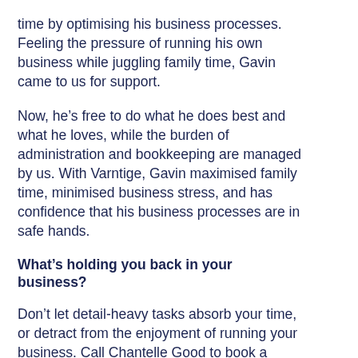time by optimising his business processes. Feeling the pressure of running his own business while juggling family time, Gavin came to us for support.
Now, he’s free to do what he does best and what he loves, while the burden of administration and bookkeeping are managed by us. With Varntige, Gavin maximised family time, minimised business stress, and has confidence that his business processes are in safe hands.
What’s holding you back in your business?
Don’t let detail-heavy tasks absorb your time, or detract from the enjoyment of running your business. Call Chantelle Good to book a meeting today, and see how we can lighten your load and help you find your work-life balance again.